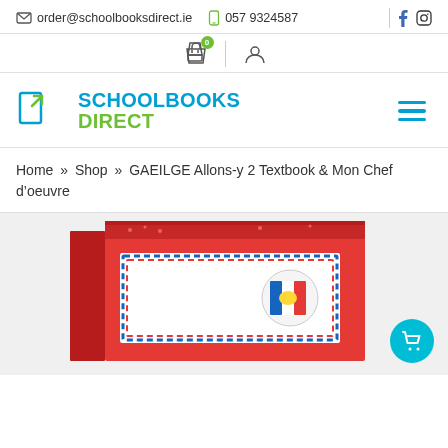order@schoolbooksdirect.ie  057 9324587
[Figure (logo): SchoolBooks Direct logo with blue book icon, SCHOOLBOOKS in blue, DIRECT in green]
Home » Shop » GAEILGE Allons-y 2 Textbook & Mon Chef d'oeuvre
[Figure (photo): Product photo of Allons-y 2 Textbook & Mon Chef d'oeuvre box set — red box with airmail envelope design and French flag stamp]